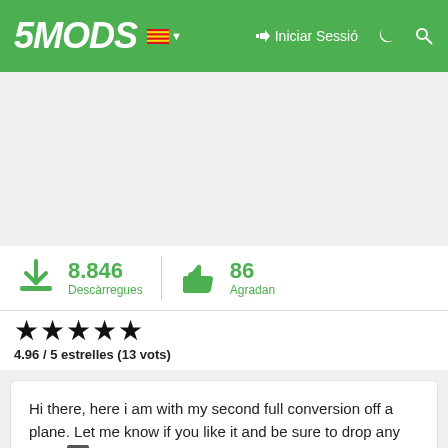5MODS — Iniciar Sessió
8.846 Descàrregues | 86 Agradan
4.96 / 5 estrelles (13 vots)
Hi there, here i am with my second full conversion off a plane. Let me know if you like it and be sure to drop any feeback down here

The de Havilland Canada DHC-6 Twin Otter, currently marketed